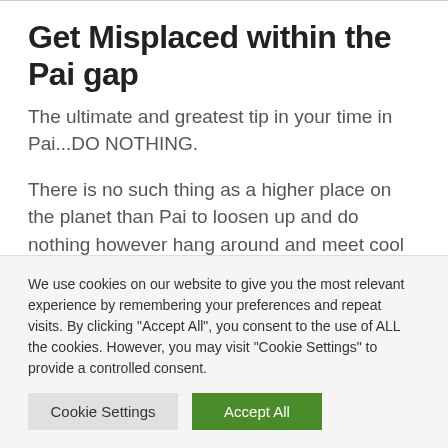Get Misplaced within the Pai gap
The ultimate and greatest tip in your time in Pai...DO NOTHING.
There is no such thing as a higher place on the planet than Pai to loosen up and do nothing however hang around and meet cool folks. There’s a saying amongst backpackers in Pai, “Don’t get misplaced within the Pai Gap...” As a result of
We use cookies on our website to give you the most relevant experience by remembering your preferences and repeat visits. By clicking “Accept All”, you consent to the use of ALL the cookies. However, you may visit "Cookie Settings" to provide a controlled consent.